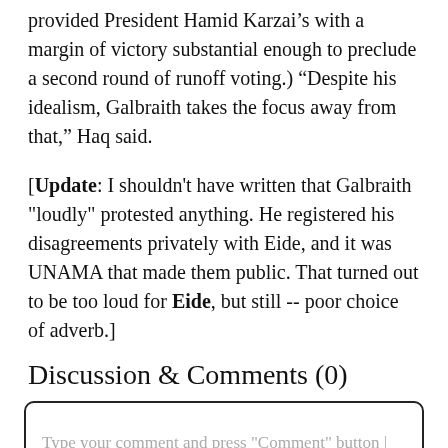provided President Hamid Karzai’s with a margin of victory substantial enough to preclude a second round of runoff voting.) “Despite his idealism, Galbraith takes the focus away from that,” Haq said.
[Update: I shouldn't have written that Galbraith "loudly" protested anything. He registered his disagreements privately with Eide, and it was UNAMA that made them public. That turned out to be too loud for Eide, but still -- poor choice of adverb.]
Discussion & Comments (0)
Type your comment and press "Comment" button |
Comment